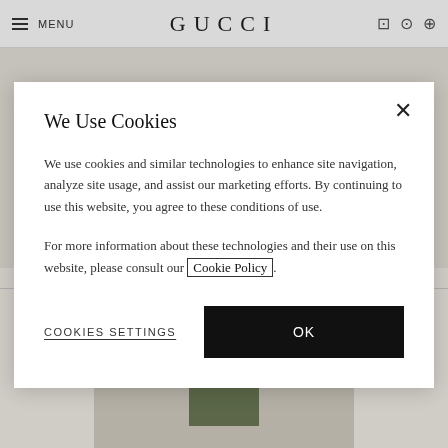MENU | GUCCI
The return window for online purchases is 30 days from the date you received your purchase. You may return items by selecting "Return this
We Use Cookies
We use cookies and similar technologies to enhance site navigation, analyze site usage, and assist our marketing efforts. By continuing to use this website, you agree to these conditions of use.
For more information about these technologies and their use on this website, please consult our Cookie Policy.
COOKIES SETTINGS
OK
GIFT WRAPPING
[Figure (photo): Gift wrapping product image showing a green/olive colored box or wrapped item on a beige/cream background]